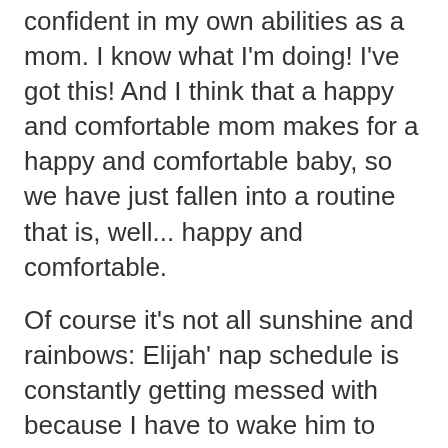confident in my own abilities as a mom. I know what I'm doing! I've got this! And I think that a happy and comfortable mom makes for a happy and comfortable baby, so we have just fallen into a routine that is, well... happy and comfortable.
Of course it's not all sunshine and rainbows: Elijah' nap schedule is constantly getting messed with because I have to wake him to pick Gwen up from school or to take kids to their after school activities. Sometimes he wakes up at 4 in the morning for no discernible reason and decides to squawk in his bed for the next 90 minutes. Sometimes I don't get a shower because I have to hold my teething, and therefor, screaming baby all day long. But, I know how to do those things. Even when it's hard, it's never actually impossible. Sometimes I do have to call in the cavalry (which usually means Nick) because I just can't be multiple people in multiple places at once, but nine out of ten times, I find a way.
It has to be said that Elijah gets a lot of the credit for all this happiness and contentment around these parts. He is just an